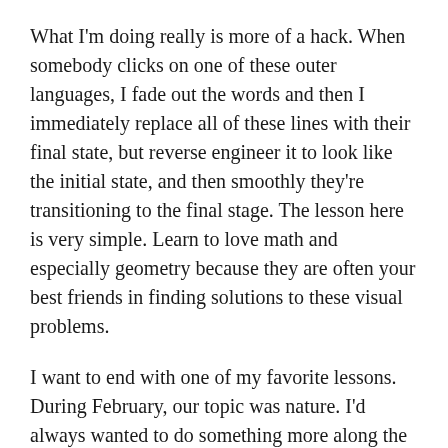What I'm doing really is more of a hack. When somebody clicks on one of these outer languages, I fade out the words and then I immediately replace all of these lines with their final state, but reverse engineer it to look like the initial state, and then smoothly they're transitioning to the final stage. The lesson here is very simple. Learn to love math and especially geometry because they are often your best friends in finding solutions to these visual problems.
I want to end with one of my favorite lessons. During February, our topic was nature. I'd always wanted to do something more along the lines of generative or data art. The apparent randomness of nature felt like a perfect match. It also reminded me of butterflies, how their path also feels kind of random to me.
I wanted to mimic these butterfly-like paths across the screen and then using data from different butterfly